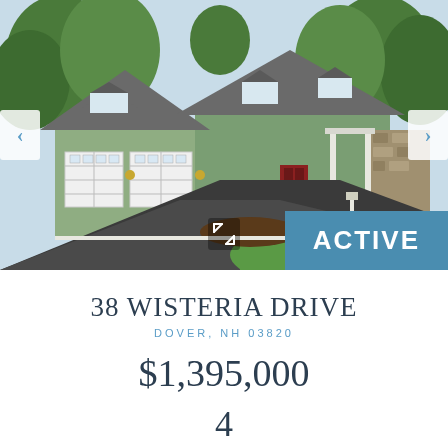[Figure (photo): Exterior photo of a green cape-cod style house with three-car garage, stone facade, covered porch, and landscaped yard. Navigation arrows on left and right. ACTIVE status badge in lower right corner.]
38 WISTERIA DRIVE
DOVER, NH 03820
$1,395,000
4